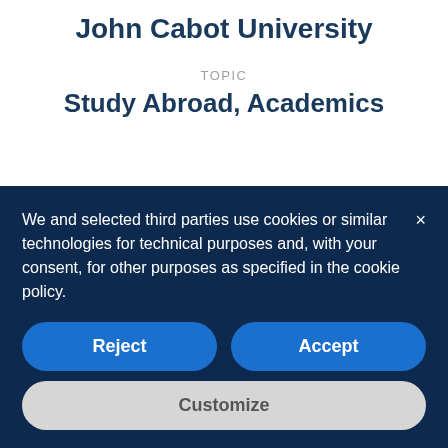John Cabot University
TOPIC
Study Abroad, Academics
Political Science is an interdisciplinary field that teaches students how politics permeates almost every aspect of
We and selected third parties use cookies or similar technologies for technical purposes and, with your consent, for other purposes as specified in the cookie policy.
Reject
Accept
Customize